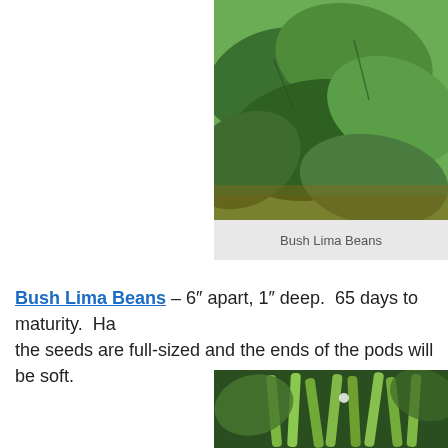[Figure (photo): Photo of Bush Lima Bean plants with large green leaves]
Bush Lima Beans
Bush Lima Beans – 6″ apart, 1″ deep.  65 days to maturity.  Ha the seeds are full-sized and the ends of the pods will be soft.
[Figure (photo): Photo of green bean pods hanging from a plant with leaves]